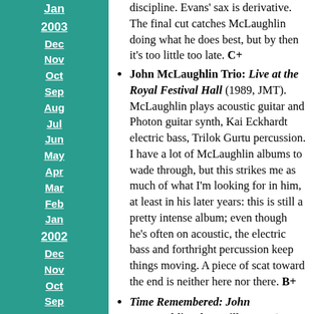discipline. Evans' sax is derivative. The final cut catches McLaughlin doing what he does best, but by then it's too little too late. C+
John McLaughlin Trio: Live at the Royal Festival Hall (1989, JMT). McLaughlin plays acoustic guitar and Photon guitar synth, Kai Eckhardt electric bass, Trilok Gurtu percussion. I have a lot of McLaughlin albums to wade through, but this strikes me as much of what I'm looking for in him, at least in his later years: this is still a pretty intense album; even though he's often on acoustic, the electric bass and forthright percussion keep things moving. A piece of scat toward the end is neither here nor there. B+
Time Remembered: John McLaughlin Plays Bill Evans (1993, Verve). With the Aighetta Quartet providing four more acoustic guitars -- I gather that they're a classical music group -- as if McLaughlin's isn't enough, and Yan Maresz on "acoustic bass guitar." I never recognize Evans' songs when I hear them, even though I recognize most of these titles. The overall mood is lush and romantic, which is a common take on Evans' famed sentimentality.